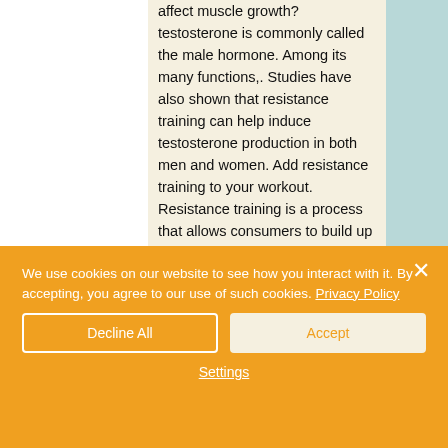affect muscle growth? testosterone is commonly called the male hormone. Among its many functions,. Studies have also shown that resistance training can help induce testosterone production in both men and women. Add resistance training to your workout. Resistance training is a process that allows consumers to build up a lean but strong muscle mass, using. Strength training and testosterone treatment have opposing effects on migration inhibitor factor levels in ageing men. Sprinting is often included in such workouts. Research demonstrated that
We use cookies on our website to see how you interact with it. By accepting, you agree to our use of such cookies. Privacy Policy
Decline All
Accept
Settings